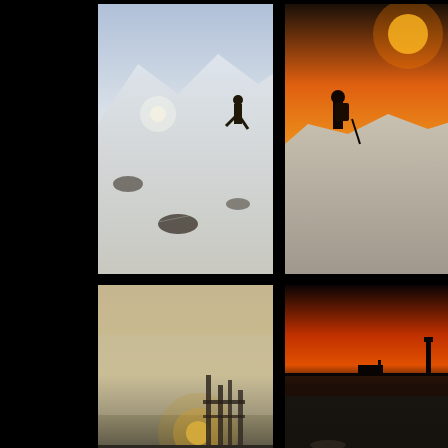[Figure (photo): Hiker walking up a snow-covered mountain slope with sunlight and clouds in background, wide-angle view]
[Figure (photo): Person with backpack and trekking pole walking along a snowy ridge with warm sunset sky]
[Figure (photo): Misty waterscape at dusk with old wooden pier/dock structure silhouetted against glowing sun reflecting on calm water]
[Figure (photo): Vivid orange-red sunset over flat coastal landscape with silhouetted structures including a lighthouse on horizon]
[Figure (photo): Dark low-light landscape of mudflats or tidal flats with shallow water reflections]
[Figure (photo): Mountain silhouette reflected in calm water at golden sunset with dark landscape foreground]
[Figure (photo): Misty grey landscape with a straight road or path through flooded fields with trees in background]